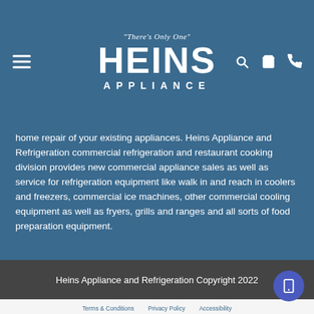[Figure (logo): Heins Appliance logo with tagline 'There's Only One' and navigation icons (hamburger menu, search, cart, phone) on a blue background]
home repair of your existing appliances. Heins Appliance and Refrigeration commercial refrigeration and restaurant cooking division provides new commercial appliance sales as well as service for refrigeration equipment like walk in and reach in coolers and freezers, commercial ice machines, other commercial cooling equipment as well as fryers, grills and ranges and all sorts of food preparation equipment.
Heins Appliance and Refrigeration Copyright 2022
Terms & Conditions
Privacy Policy
Accessibility